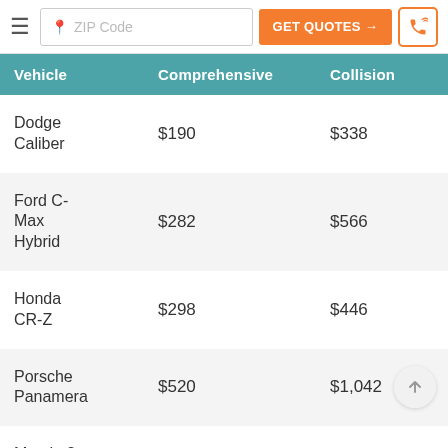ZIP Code | GET QUOTES → | phone icon
| Vehicle | Comprehensive | Collision | Lic |
| --- | --- | --- | --- |
| Dodge Caliber | $190 | $338 | $4 |
| Ford C-Max Hybrid | $282 | $566 | $3 |
| Honda CR-Z | $298 | $446 | $4 |
| Porsche Panamera | $520 | $1,042 | $3 |
| Mazda 3 | $308 | $562 | $3 |